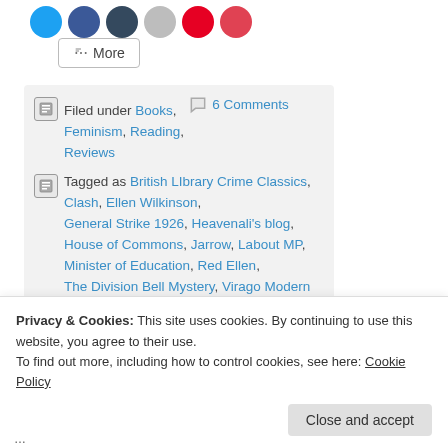[Figure (other): Row of social media share icon buttons (Twitter, Facebook, Google+, Email, Pinterest, Pocket) as colored circles]
< More
Filed under Books, Feminism, Reading, Reviews   6 Comments
Tagged as British LIbrary Crime Classics, Clash, Ellen Wilkinson, General Strike 1926, Heavenali's blog, House of Commons, Jarrow, Labout MP, Minister of Education, Red Ellen, The Division Bell Mystery, Virago Modern Classics
Privacy & Cookies: This site uses cookies. By continuing to use this website, you agree to their use.
To find out more, including how to control cookies, see here: Cookie Policy
Close and accept